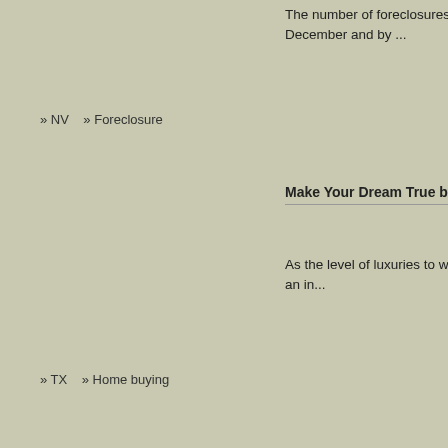The number of foreclosures in Washoe County increased in January by 16 percent over December and by ...
» NV   » Foreclosure                                    02/28/2011
Make Your Dream True by Purchasing Dream House in Austin
As the level of luxuries to which the citizens are exposed are increasing at a very fast rate, an in...
» TX   » Home buying                                    07/06/2009
» Read all articles
[Figure (line-chart): Line chart showing local vs avg state price, x-axis 01 02 03]
Avg. state pric...
Bonner Springs,
[Figure (line-chart): Line chart for Bonner Springs showing local vs avg state price, x-axis 01 02 03]
Avg. state pric...
Real esta